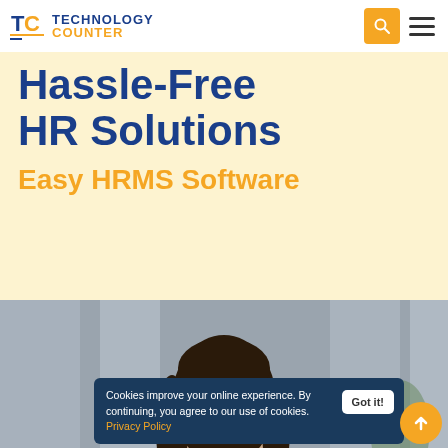Technology Counter — navigation header with logo, search, and menu
Hassle-Free HR Solutions
Easy HRMS Software
[Figure (photo): Woman with long dark hair looking down, smiling, in an office/corridor setting with blurred background]
Cookies improve your online experience. By continuing, you agree to our use of cookies. Privacy Policy
Got it!